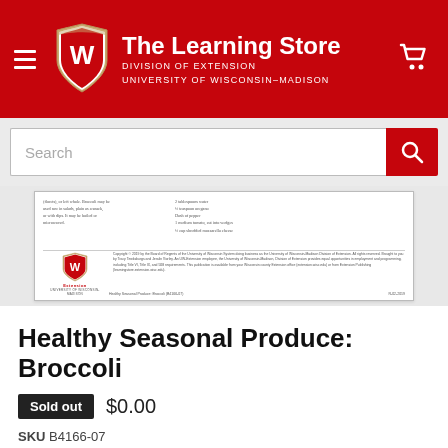The Learning Store — DIVISION OF EXTENSION — UNIVERSITY OF WISCONSIN–MADISON
[Figure (screenshot): Document preview showing back page of Healthy Seasonal Produce: Broccoli publication with text content and Extension logo at bottom]
Healthy Seasonal Produce: Broccoli
Sold out  $0.00
SKU B4166-07